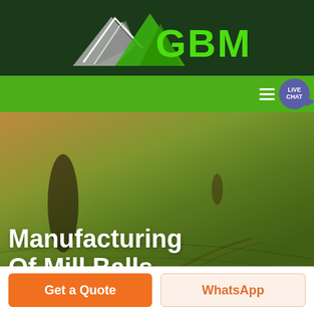[Figure (logo): GBM logo with mountain/arrow graphic on dark green background header]
[Figure (screenshot): Green navigation bar with hamburger menu and purple Live Chat bubble]
[Figure (photo): Aerial photo of agricultural field with rolling green hills and warm orange tone overlay]
Manufacturing Of Mill Balls
Get a Quote
WhatsApp